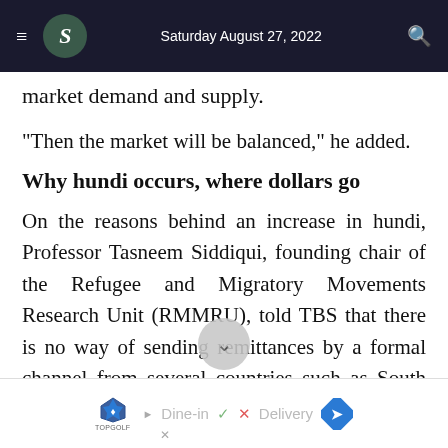Saturday August 27, 2022
market demand and supply.
"Then the market will be balanced," he added.
Why hundi occurs, where dollars go
On the reasons behind an increase in hundi, Professor Tasneem Siddiqui, founding chair of the Refugee and Migratory Movements Research Unit (RMMRU), told TBS that there is no way of sending remittances by a formal channel from several countries such as South Africa, the Maldives and Iraq.